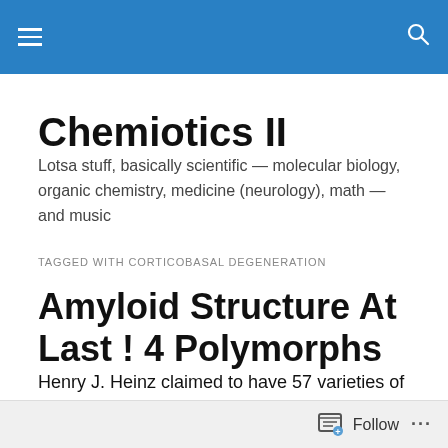Chemiotics II — navigation header with menu and search icons
Chemiotics II
Lotsa stuff, basically scientific — molecular biology, organic chemistry, medicine (neurology), math — and music
TAGGED WITH CORTICOBASAL DEGENERATION
Amyloid Structure At Last ! 4 Polymorphs
Henry J. Heinz claimed to have 57 varieties of pickles in 1896, but Cell [ vol. 184 pp. 4857 – 4873 '21  ] Page 4862
Follow